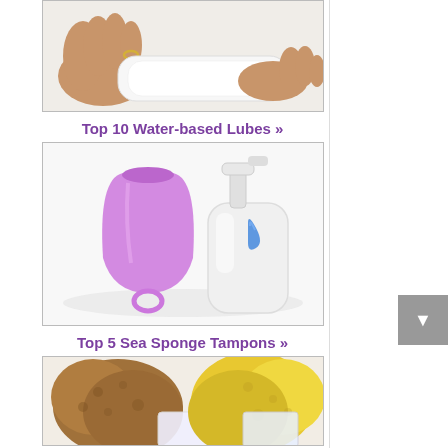[Figure (photo): Hands holding a white menstrual pad/sanitary napkin against white background]
Top 10 Water-based Lubes »
[Figure (photo): Purple menstrual cup and a white pump bottle with blue water drop graphic - water-based lubricants]
Top 5 Sea Sponge Tampons »
[Figure (photo): Brown and yellow sea sponges used as tampons, displayed with packaging]